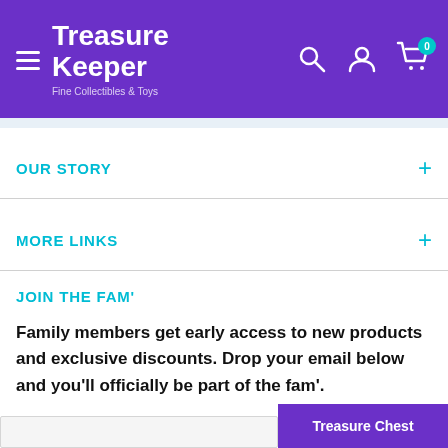Treasure Keeper — Fine Collectibles & Toys
OUR STORY
MORE LINKS
JOIN THE FAM'
Family members get early access to new products and exclusive discounts. Drop your email below and you'll officially be part of the fam'.